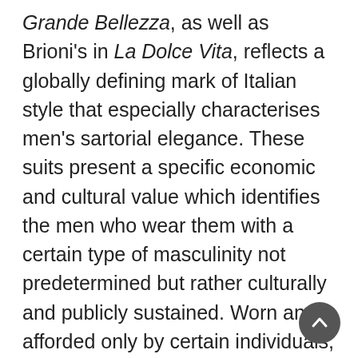Grande Bellezza, as well as Brioni's in La Dolce Vita, reflects a globally defining mark of Italian style that especially characterises men's sartorial elegance. These suits present a specific economic and cultural value which identifies the men who wear them with a certain type of masculinity not predetermined but rather culturally and publicly sustained. Worn and afforded only by certain individuals, socialites and trendsetters, they become emblems of a lascivious lifestyle that characterised, and still characterises, the model of the 'Latin Lover,' presented on screen through the